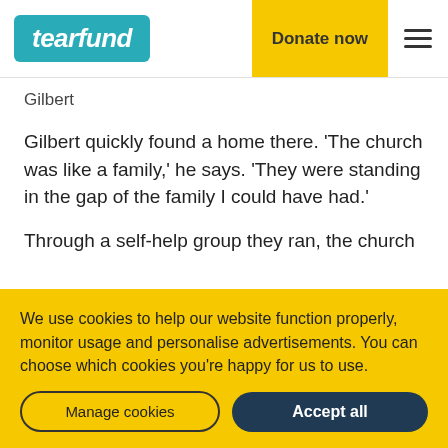tearfund | Donate now
Gilbert
Gilbert quickly found a home there. ‘The church was like a family,’ he says. ‘They were standing in the gap of the family I could have had.’
Through a self-help group they ran, the church
We use cookies to help our website function properly, monitor usage and personalise advertisements. You can choose which cookies you’re happy for us to use.
Manage cookies
Accept all